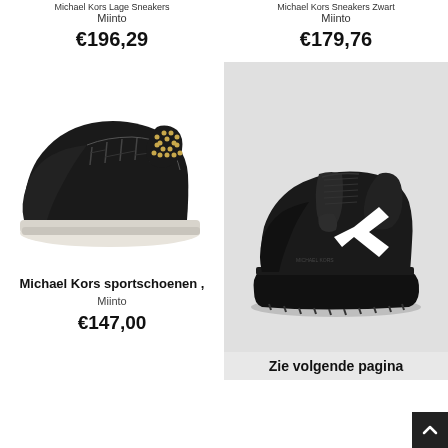Michael Kors Lage Sneakers
Miinto
€196,29
Michael Kors Sneakers Zwart
Miinto
€179,76
[Figure (photo): Black Michael Kors low-top sneaker with gold studded back detail and white sole, shown from the side on white background]
Michael Kors sportschoenen ,
Miinto
€147,00
[Figure (photo): Black Michael Kors chunky running sneaker with white chevron arrow detail on side, shown on light grey background]
Zie volgende pagina